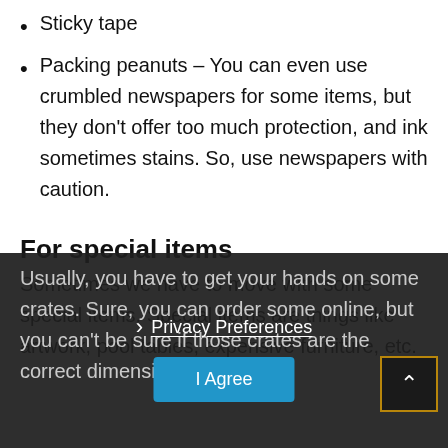Sticky tape
Packing peanuts – You can even use crumbled newspapers for some items, but they don't offer too much protection, and ink sometimes stains. So, use newspapers with caution.
For special items
Sometimes we have to move with some special items. Special items are things like artwork, pool tables, expensive furniture, etc.
Usually, you have to get your hands on some crates. Sure, you can order some online, but you can't be sure if those crates are the correct dimensions.